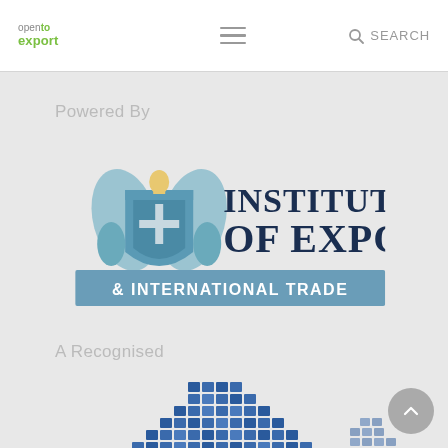[Figure (logo): Open to Export website navigation bar with logo on left, hamburger menu in center, and search icon on right]
Powered By
[Figure (logo): Institute of Export and International Trade logo with coat of arms on the left and text on the right, with blue banner reading & INTERNATIONAL TRADE]
A Recognised
[Figure (illustration): Partial globe graphic visible at the bottom of the page, composed of blue square tiles in a dome/globe pattern]